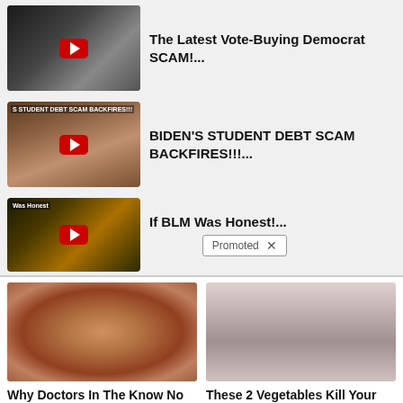The Latest Vote-Buying Democrat SCAM!...
BIDEN'S STUDENT DEBT SCAM BACKFIRES!!!...
If BLM Was Honest!...
Promoted ×
[Figure (photo): Close-up medical image resembling internal organs]
Why Doctors In The Know No Longer Prescribe Metformin
🔥 108,739
[Figure (photo): Before/after photo showing a woman's back]
These 2 Vegetables Kill Your Belly And Arm Fat Overnight
🔥 4,098